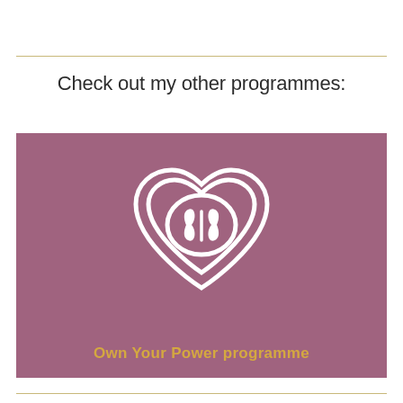Check out my other programmes:
[Figure (logo): Mauve/purple rectangular banner with a white outlined heart logo containing a smaller heart and a leaf/plant icon in the center, and gold text 'Own Your Power programme' below the icon.]